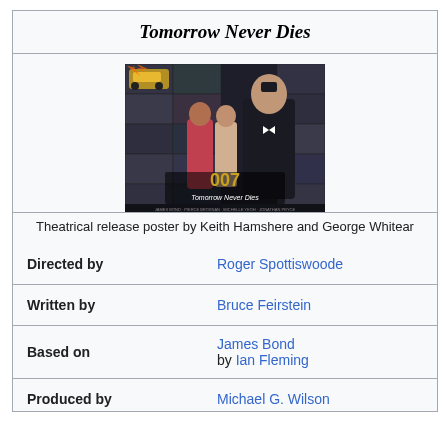Tomorrow Never Dies
[Figure (photo): Theatrical release poster for Tomorrow Never Dies (1997 James Bond film), showing Pierce Brosnan as James Bond in foreground in a tuxedo, two female leads behind him, a BMW car, and the 007 logo with 'Tomorrow Never Dies' text.]
Theatrical release poster by Keith Hamshere and George Whitear
| Field | Value |
| --- | --- |
| Directed by | Roger Spottiswoode |
| Written by | Bruce Feirstein |
| Based on | James Bond by Ian Fleming |
| Produced by | Michael G. Wilson |